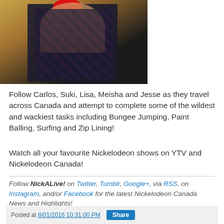[Figure (photo): Photo of a person wearing a floral top, cropped, with a red circle element at top]
Follow Carlos, Suki, Lisa, Meisha and Jesse as they travel across Canada and attempt to complete some of the wildest and wackiest tasks including Bungee Jumping, Paint Balling, Surfing and Zip Lining!
Watch all your favourite Nickelodeon shows on YTV and Nickelodeon Canada!
Follow NickALive! on Twitter, Tumblr, Google+, via RSS, on Instagram, and/or Facebook for the latest Nickelodeon Canada News and Highlights!
Posted at 8/01/2016 10:31:00 PM